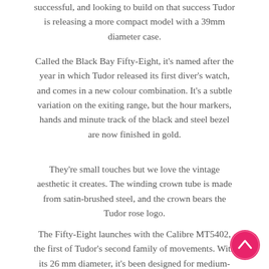successful, and looking to build on that success Tudor is releasing a more compact model with a 39mm diameter case.
Called the Black Bay Fifty-Eight, it's named after the year in which Tudor released its first diver's watch, and comes in a new colour combination. It's a subtle variation on the exiting range, but the hour markers, hands and minute track of the black and steel bezel are now finished in gold.
They're small touches but we love the vintage aesthetic it creates. The winding crown tube is made from satin-brushed steel, and the crown bears the Tudor rose logo.
The Fifty-Eight launches with the Calibre MT5402, the first of Tudor's second family of movements. With its 26 mm diameter, it's been designed for medium-sized watches, which is capable of displaying hour, minute
[Figure (other): Pink circular scroll-to-top button with upward chevron arrow]